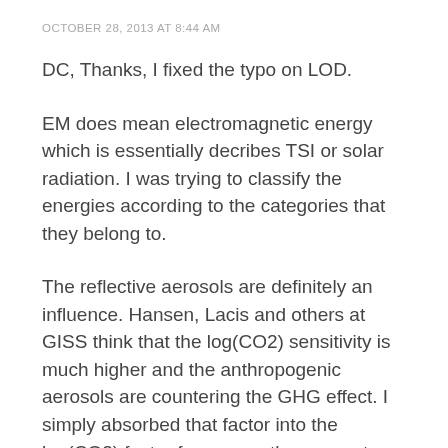OCTOBER 28, 2013 AT 8:44 AM
DC, Thanks, I fixed the typo on LOD.
EM does mean electromagnetic energy which is essentially decribes TSI or solar radiation. I was trying to classify the energies according to the categories that they belong to.
The reflective aerosols are definitely an influence. Hansen, Lacis and others at GISS think that the log(CO2) sensitivity is much higher and the anthropogenic aerosols are countering the GHG effect. I simply absorbed that factor into the log(CO2) factor for now as they seem to